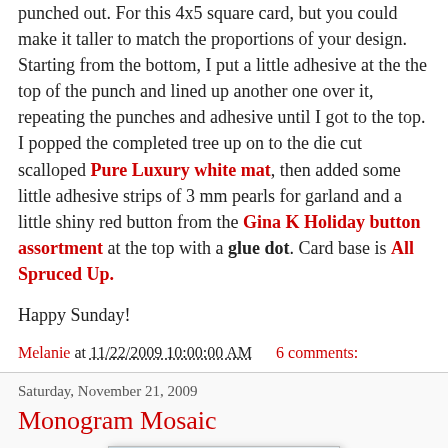punched out. For this 4x5 square card, but you could make it taller to match the proportions of your design. Starting from the bottom, I put a little adhesive at the the top of the punch and lined up another one over it, repeating the punches and adhesive until I got to the top. I popped the completed tree up on to the die cut scalloped Pure Luxury white mat, then added some little adhesive strips of 3 mm pearls for garland and a little shiny red button from the Gina K Holiday button assortment at the top with a glue dot. Card base is All Spruced Up.
Happy Sunday!
Melanie at 11/22/2009 10:00:00 AM   6 comments:
Saturday, November 21, 2009
Monogram Mosaic
[Figure (photo): Partially visible photograph of a craft card project, showing a dark frame with red elements, on a light blue/grey background]